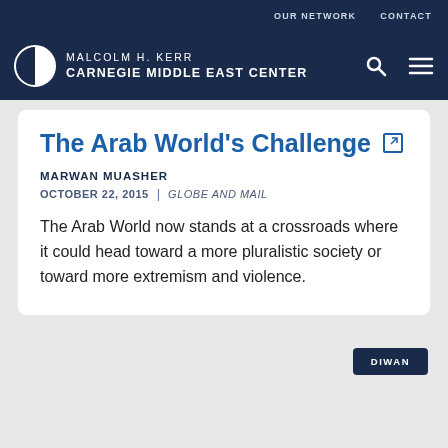OUR NETWORK   CONTACT
[Figure (logo): Malcolm H. Kerr Carnegie Middle East Center logo with circular half-filled emblem, search icon, and hamburger menu icon on dark navy background]
The Arab World's Challenge
MARWAN MUASHER
OCTOBER 22, 2015  |  GLOBE AND MAIL
The Arab World now stands at a crossroads where it could head toward a more pluralistic society or toward more extremism and violence.
DIWAN